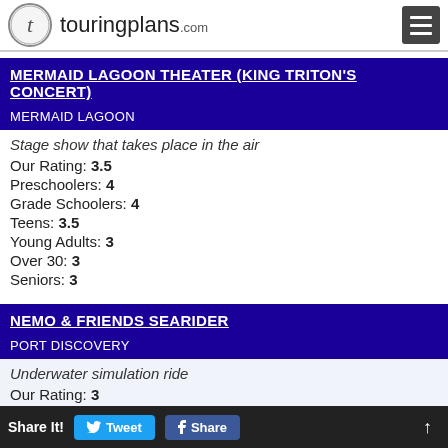touringplans.com
MERMAID LAGOON THEATER (KING TRITON'S CONCERT) — MERMAID LAGOON
Stage show that takes place in the air
Our Rating: 3.5
Preschoolers: 4
Grade Schoolers: 4
Teens: 3.5
Young Adults: 3
Over 30: 3
Seniors: 3
NEMO & FRIENDS SEARIDER — PORT DISCOVERY
Underwater simulation ride
Our Rating: 3
Preschoolers: 4
Grade Schoolers: 4
Teens: 3.5
Young Adults: 3
Over 30: 3
Share It! Tweet Share